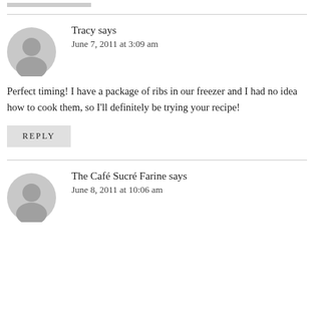[Figure (other): Partial gray stub/bar at top of page]
Tracy says
June 7, 2011 at 3:09 am
Perfect timing! I have a package of ribs in our freezer and I had no idea how to cook them, so I'll definitely be trying your recipe!
REPLY
The Café Sucré Farine says
June 8, 2011 at 10:06 am